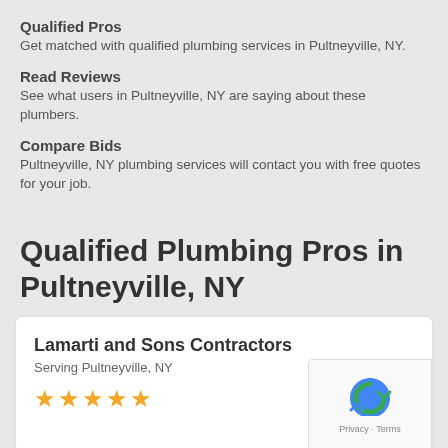Qualified Pros
Get matched with qualified plumbing services in Pultneyville, NY.
Read Reviews
See what users in Pultneyville, NY are saying about these plumbers.
Compare Bids
Pultneyville, NY plumbing services will contact you with free quotes for your job.
Qualified Plumbing Pros in Pultneyville, NY
Lamarti and Sons Contractors
Serving Pultneyville, NY
★★★★★
Get Free Qu…